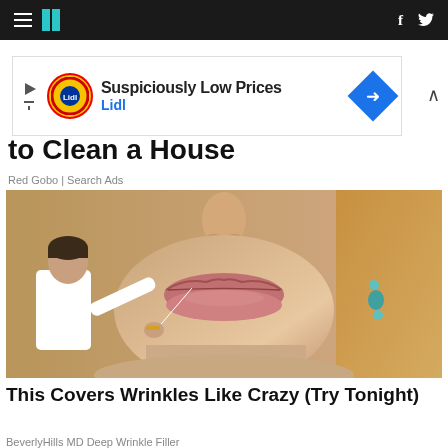HuffPost navigation bar with hamburger menu, logo, facebook and twitter icons
[Figure (screenshot): Lidl advertisement banner: 'Suspiciously Low Prices' with Lidl logo and blue diamond arrow icon]
to Clean a House
Red Gobo | Search Ads
[Figure (photo): Close-up photo of a woman's face focused on lips, with a man in white shirt appearing small on the left side touching her cheek with a needle/thread]
This Covers Wrinkles Like Crazy (Try Tonight)
BeverlyHills MD Deep Wrinkle Filler
[Figure (photo): Partial bottom image strip, buildings visible]